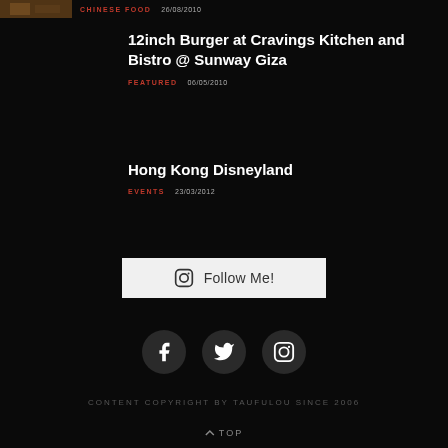[Figure (photo): Small thumbnail image of Chinese food]
CHINESE FOOD   26/08/2010
12inch Burger at Cravings Kitchen and Bistro @ Sunway Giza
FEATURED   06/05/2010
Hong Kong Disneyland
EVENTS   23/03/2012
[Figure (other): Follow Me button with Instagram icon]
[Figure (other): Social media icons: Facebook, Twitter, Instagram]
CONTENT COPYRIGHT BY TAUFULOU SINCE 2006
^ TOP